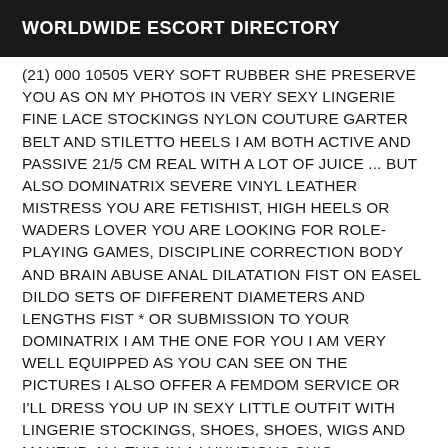WORLDWIDE ESCORT DIRECTORY
(21) 000 10505 VERY SOFT RUBBER SHE PRESERVE YOU AS ON MY PHOTOS IN VERY SEXY LINGERIE FINE LACE STOCKINGS NYLON COUTURE GARTER BELT AND STILETTO HEELS I AM BOTH ACTIVE AND PASSIVE 21/5 CM REAL WITH A LOT OF JUICE ... BUT ALSO DOMINATRIX SEVERE VINYL LEATHER MISTRESS YOU ARE FETISHIST, HIGH HEELS OR WADERS LOVER YOU ARE LOOKING FOR ROLE-PLAYING GAMES, DISCIPLINE CORRECTION BODY AND BRAIN ABUSE ANAL DILATATION FIST ON EASEL DILDO SETS OF DIFFERENT DIAMETERS AND LENGTHS FIST * OR SUBMISSION TO YOUR DOMINATRIX I AM THE ONE FOR YOU I AM VERY WELL EQUIPPED AS YOU CAN SEE ON THE PICTURES I ALSO OFFER A FEMDOM SERVICE OR I'LL DRESS YOU UP IN SEXY LITTLE OUTFIT WITH LINGERIE STOCKINGS, SHOES, SHOES, WIGS AND MAKEUP. ALL THIS IN A LUXURIOUS CHIC